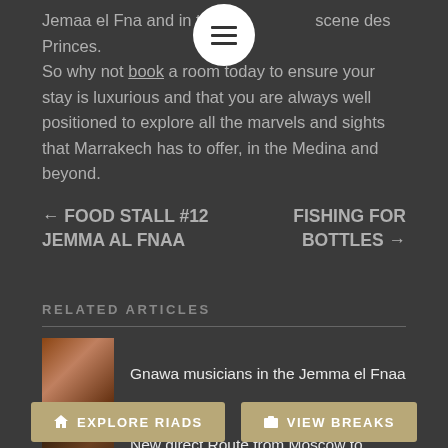Jemaa el Fna and in the scene des Princes. So why not book a room today to ensure your stay is luxurious and that you are always well positioned to explore all the marvels and sights that Marrakech has to offer, in the Medina and beyond.
← FOOD STALL #12 JEMMA AL FNAA
FISHING FOR BOTTLES →
RELATED ARTICLES
[Figure (photo): Thumbnail image of Gnawa musicians in the Jemma el Fnaa]
Gnawa musicians in the Jemma el Fnaa
[Figure (photo): Thumbnail image for New direct Route from Moscow to Casablanca]
New direct Route from Moscow to Casablanca
[Figure (photo): Thumbnail image for 30000th free meal served by the Henna]
30000th free meal served by the Henna
🏠 EXPLORE RIADS
📷 VIEW BREAKS